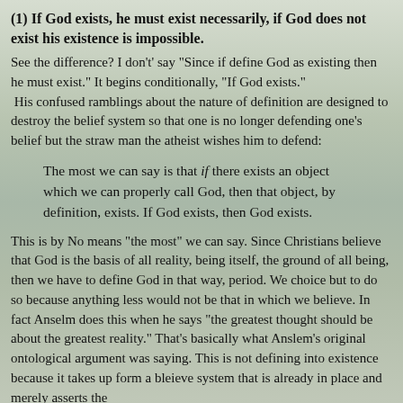(1) If God exists, he must exist necessarily, if God does not exist his existence is impossible.
See the difference? I don't' say "Since if define God as existing then he must exist." It begins conditionally, "If God exists."  His confused ramblings about the nature of definition are designed to destroy the belief system so that one is no longer defending one's belief but the straw man the atheist wishes him to defend:
The most we can say is that if there exists an object which we can properly call God, then that object, by definition, exists. If God exists, then God exists.
This is by No means "the most" we can say. Since Christians believe that God is the basis of all reality, being itself, the ground of all being, then we have to define God in that way, period. We choice but to do so because anything less would not be that in which we believe. In fact Anselm does this when he says "the greatest thought should be about the greatest reality." That's basically what Anslem's original ontological argument was saying. This is not defining into existence because it takes up form a bleieve system that is already in place and merely asserts the